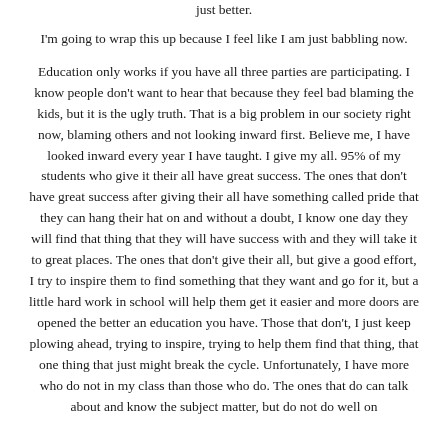just better.
I'm going to wrap this up because I feel like I am just babbling now.
Education only works if you have all three parties are participating. I know people don't want to hear that because they feel bad blaming the kids, but it is the ugly truth. That is a big problem in our society right now, blaming others and not looking inward first. Believe me, I have looked inward every year I have taught. I give my all. 95% of my students who give it their all have great success. The ones that don't have great success after giving their all have something called pride that they can hang their hat on and without a doubt, I know one day they will find that thing that they will have success with and they will take it to great places. The ones that don't give their all, but give a good effort, I try to inspire them to find something that they want and go for it, but a little hard work in school will help them get it easier and more doors are opened the better an education you have. Those that don't, I just keep plowing ahead, trying to inspire, trying to help them find that thing, that one thing that just might break the cycle. Unfortunately, I have more who do not in my class than those who do. The ones that do can talk about and know the subject matter, but do not do well on